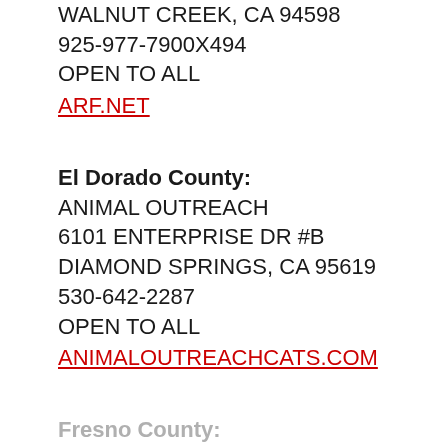WALNUT CREEK, CA 94598
925-977-7900X494
OPEN TO ALL
ARF.NET
El Dorado County:
ANIMAL OUTREACH
6101 ENTERPRISE DR #B
DIAMOND SPRINGS, CA 95619
530-642-2287
OPEN TO ALL
ANIMALOUTREACHCATS.COM
Fresno County:
FRESNO, CA
SpayUSA Certificate Participating